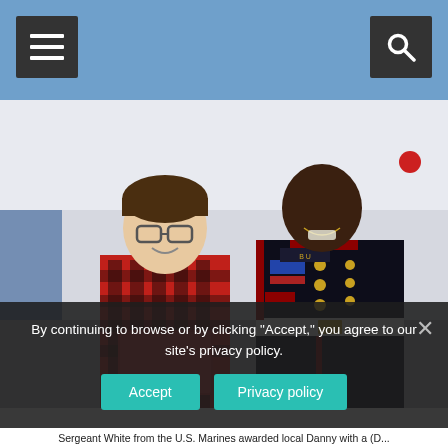Navigation header with menu and search buttons
[Figure (photo): Two people standing together smiling. On the left, a young man in a red and black plaid flannel shirt holding a red folder/certificate. On the right, a U.S. Marine in formal dress blues uniform with medals and sergeant chevrons.]
By continuing to browse or by clicking "Accept," you agree to our site's privacy policy.
Sergeant White from the U.S. Marines awarded local Danny with a (D...